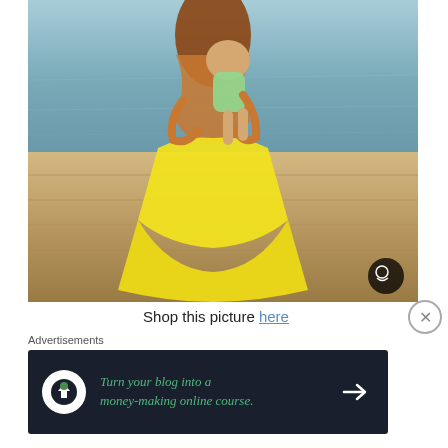[Figure (photo): A woman in a yellow maxi dress kneeling on a wooden dock by the water, holding a baby/toddler in a floral outfit. The woman has long auburn hair and is bending forward. The background shows water and the dock surface.]
Shop this picture here
Advertisements
[Figure (infographic): Advertisement banner with dark navy background. Shows a circular white logo with a house/tree icon, green italic text reading 'Turn your blog into a money-making online course.' and a right-pointing arrow.]